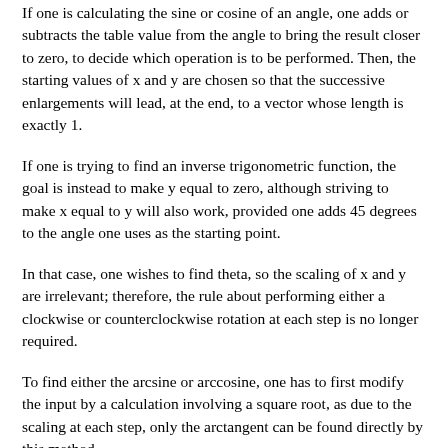If one is calculating the sine or cosine of an angle, one adds or subtracts the table value from the angle to bring the result closer to zero, to decide which operation is to be performed. Then, the starting values of x and y are chosen so that the successive enlargements will lead, at the end, to a vector whose length is exactly 1.
If one is trying to find an inverse trigonometric function, the goal is instead to make y equal to zero, although striving to make x equal to y will also work, provided one adds 45 degrees to the angle one uses as the starting point.
In that case, one wishes to find theta, so the scaling of x and y are irrelevant; therefore, the rule about performing either a clockwise or counterclockwise rotation at each step is no longer required.
To find either the arcsine or arccosine, one has to first modify the input by a calculation involving a square root, as due to the scaling at each step, only the arctangent can be found directly by this method.
The paper noted that this method could also be applied to the hyperbolic trig functions with modifications. However, a simpler method can be used to calculate logarithms directly with similar